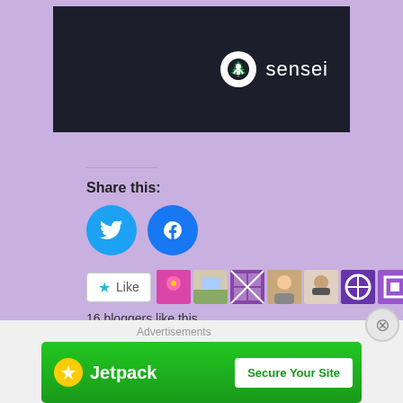[Figure (screenshot): Dark banner image with sensei logo (tree icon and 'sensei' text in white) on dark navy background]
Share this:
[Figure (infographic): Twitter and Facebook circular social share buttons in cyan and blue]
[Figure (infographic): Like button with star icon and row of 9 blogger avatar thumbnails]
16 bloggers like this.
Related
Motivation for the Caregiver....Quote #9
February 1, 2019
Why do I feel guilty....caregiver guilt?
December 4, 2018
[Figure (infographic): Jetpack advertisement banner with green background, lightning bolt icon, Jetpack text, and Secure Your Site button]